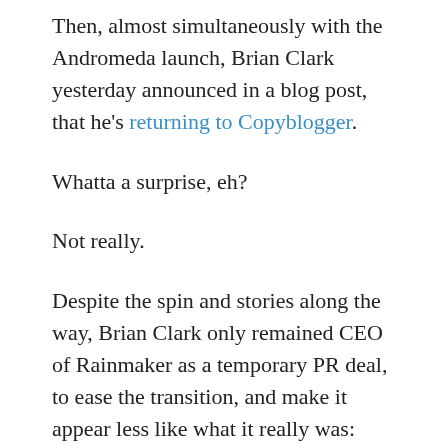Then, almost simultaneously with the Andromeda launch, Brian Clark yesterday announced in a blog post, that he's returning to Copyblogger.
Whatta a surprise, eh?
Not really.
Despite the spin and stories along the way, Brian Clark only remained CEO of Rainmaker as a temporary PR deal, to ease the transition, and make it appear less like what it really was: Copyblogger wanting to get rid of a problematic product – without losing too much face, and to reduce panic among its Rainmaker Platform users.